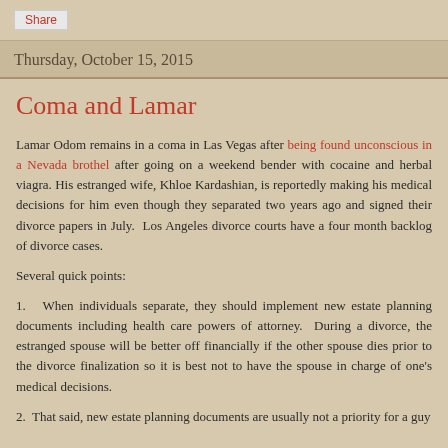Share
Thursday, October 15, 2015
Coma and Lamar
Lamar Odom remains in a coma in Las Vegas after being found unconscious in a Nevada brothel after going on a weekend bender with cocaine and herbal viagra. His estranged wife, Khloe Kardashian, is reportedly making his medical decisions for him even though they separated two years ago and signed their divorce papers in July. Los Angeles divorce courts have a four month backlog of divorce cases.
Several quick points:
1. When individuals separate, they should implement new estate planning documents including health care powers of attorney. During a divorce, the estranged spouse will be better off financially if the other spouse dies prior to the divorce finalization so it is best not to have the spouse in charge of one's medical decisions.
2. That said, new estate planning documents are usually not a priority for a guy